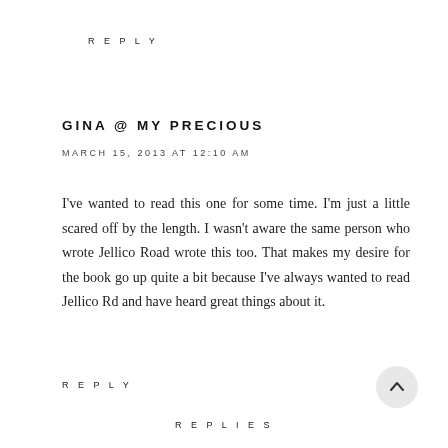REPLY
GINA @ MY PRECIOUS
MARCH 15, 2013 AT 12:10 AM
I've wanted to read this one for some time. I'm just a little scared off by the length. I wasn't aware the same person who wrote Jellico Road wrote this too. That makes my desire for the book go up quite a bit because I've always wanted to read Jellico Rd and have heard great things about it.
REPLY
REPLIES